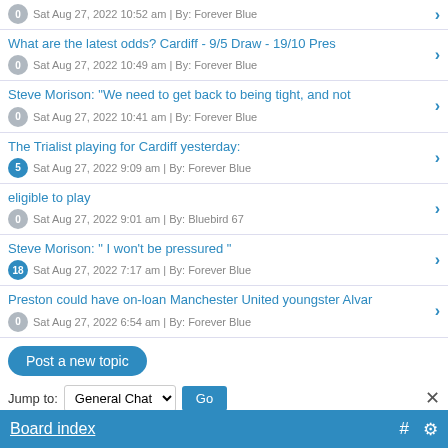Sat Aug 27, 2022 10:52 am | By: Forever Blue
What are the latest odds? Cardiff - 9/5 Draw - 19/10 Pres
Sat Aug 27, 2022 10:49 am | By: Forever Blue
Steve Morison: "We need to get back to being tight, and not
Sat Aug 27, 2022 10:41 am | By: Forever Blue
The Trialist playing for Cardiff yesterday:
Sat Aug 27, 2022 9:09 am | By: Forever Blue
eligible to play
Sat Aug 27, 2022 9:01 am | By: Bluebird 67
Steve Morison: " I won't be pressured "
Sat Aug 27, 2022 7:17 am | By: Forever Blue
Preston could have on-loan Manchester United youngster Alvar
Sat Aug 27, 2022 6:54 am | By: Forever Blue
Post a new topic
Jump to: General Chat  Go
Powered by phpBB © phpBB Group.   phpBB Mobile / SEO by Artodia.
Board index